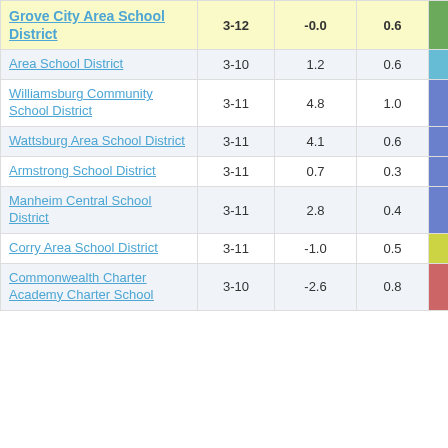| District | Grades | Col1 | Col2 | Score |
| --- | --- | --- | --- | --- |
| Grove City Area School District | 3-12 | -0.0 | 0.6 | -0.00 |
| Area School District | 3-10 | 1.2 | 0.6 | 1.95 |
| Williamsburg Community School District | 3-11 | 4.8 | 1.0 | 4.64 |
| Wattsburg Area School District | 3-11 | 4.1 | 0.6 | 6.55 |
| Armstrong School District | 3-11 | 0.7 | 0.3 | 2.13 |
| Manheim Central School District | 3-11 | 2.8 | 0.4 | 6.35 |
| Corry Area School District | 3-11 | -1.0 | 0.5 | -1.92 |
| Commonwealth Charter Academy Charter School | 3-10 | -2.6 | 0.8 | -3.07 |